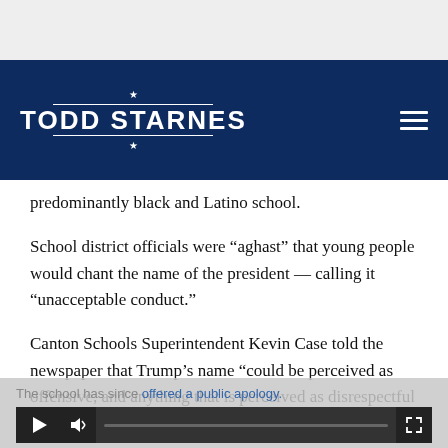[Figure (logo): Todd Starnes website logo — white bold text on navy background with decorative lines and stars, plus hamburger menu icon]
predominantly black and Latino school.
School district officials were “aghast” that young people would chant the name of the president — calling it “unacceptable conduct.”
Canton Schools Superintendent Kevin Case told the newspaper that Trump’s name “could be perceived as offensive, and anything that is perceived as disrespectful or hateful we don’t tolerate.”
The school has since offered a public apology.